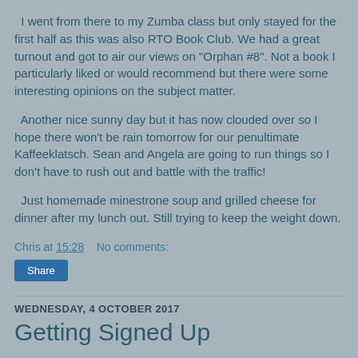I went from there to my Zumba class but only stayed for the first half as this was also RTO Book Club. We had a great turnout and got to air our views on "Orphan #8". Not a book I particularly liked or would recommend but there were some interesting opinions on the subject matter.
Another nice sunny day but it has now clouded over so I hope there won't be rain tomorrow for our penultimate Kaffeeklatsch. Sean and Angela are going to run things so I don't have to rush out and battle with the traffic!
Just homemade minestrone soup and grilled cheese for dinner after my lunch out. Still trying to keep the weight down.
Chris at 15:28    No comments:
Share
WEDNESDAY, 4 OCTOBER 2017
Getting Signed Up